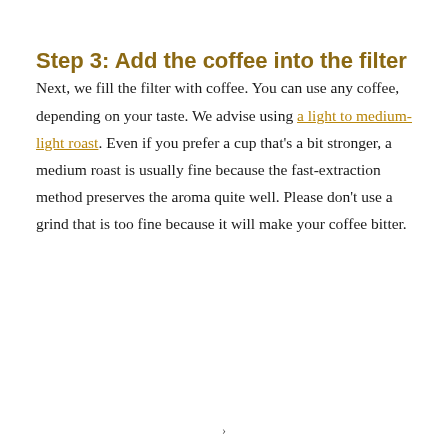Step 3: Add the coffee into the filter
Next, we fill the filter with coffee. You can use any coffee, depending on your taste. We advise using a light to medium-light roast. Even if you prefer a cup that's a bit stronger, a medium roast is usually fine because the fast-extraction method preserves the aroma quite well. Please don't use a grind that is too fine because it will make your coffee bitter.